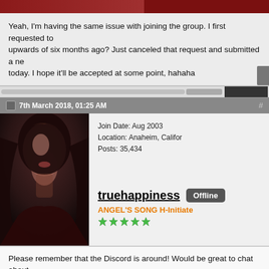[Figure (photo): Partial top red/dark image strip at top of page]
Yeah, I'm having the same issue with joining the group. I first requested to upwards of six months ago? Just canceled that request and submitted a new today. I hope it'll be accepted at some point, hahaha
7th March 2018, 01:25 AM
[Figure (photo): Avatar photo of a woman with long dark wavy hair, close-up portrait]
Join Date: Aug 2003
Location: Anaheim, Califor
Posts: 35,434
truehappiness  Offline
ANGEL'S SONG H-Initiate
★★★★★
Please remember that the Discord is around! Would be great to chat about upcoming Ayu happenings (and other things).
[Figure (photo): Bottom partial photo strip, dark tones]